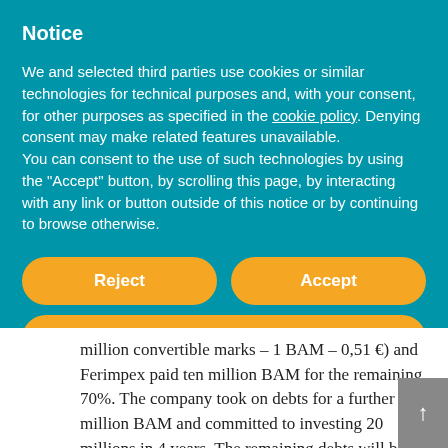Notice
We and selected third parties use cookies or similar technologies for technical purposes and, with your consent, for other purposes as specified in the cookie policy. Denying consent may make related features unavailable.
You can consent to the use of such technologies by using the “Accept” button, by scrolling this page, by interacting with any link or button outside of this notice or by continuing to browse otherwise.
Reject
Accept
Learn more and customize
million convertible marks – 1 BAM – 0,51 €) and Ferimpex paid ten million BAM for the remaining 70%. The company took on debts for a further 26 million BAM and committed to investing 20 millions in 4 years. The remaining debts will be